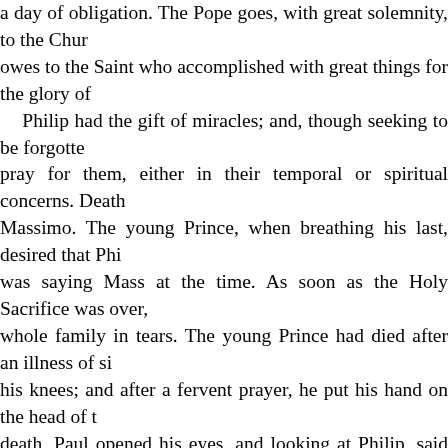a day of obligation. The Pope goes, with great solemnity, to the Church owes to the Saint who accomplished with great things for the glory of Philip had the gift of miracles; and, though seeking to be forgotten pray for them, either in their temporal or spiritual concerns. Death Massimo. The young Prince, when breathing his last, desired that Phi was saying Mass at the time. As soon as the Holy Sacrifice was over, whole family in tears. The young Prince had died after an illness of si his knees; and after a fervent prayer, he put his hand on the head of t death, Paul opened his eyes, and looking at Philip, said to him: “My assistants left the room, and Philip remained alone with the Prince. began to speak to Philip regarding his mother and sister who had be During the conversation, the Prince’s face regained all it had lost by him if he would wish to die again?—“Oh! yes:” answered the Prince then,” said Philip, “take thy departure for heaven, and pray to the Lor the joys of eternal life, leaving his family to mourn his departure, and He was almost continually visited by our Lord with raptures and e the conscience. His virtues were such as to draw souls to him by an in he warned against danger; others he saved, after they had fallen.